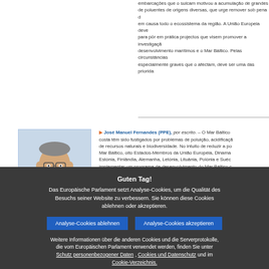embarcações que o sulcam motivou a acumulação de grandes de poluentes de origens diversas, que urge remover sob pena de em causa todo o ecossistema da região. A União Europeia deve para pôr em prática projectos que visem promover a investigação desenvolvimento marítimos e o Mar Báltico. Pelas circunstâncias especialmente graves que o afectam, deve ser uma das prioridades
[Figure (photo): Headshot photo of José Manuel Fernandes, a man wearing glasses and a suit]
José Manuel Fernandes (PPE), por escrito. – O Mar Báltico costa têm sido fustigados por problemas de poluição, acidificação de recursos naturais e biodiversidade. No intuito de reduzir a poluição Mar Báltico, oito Estados-Membros da União Europeia, Dinamarca, Estónia, Finlândia, Alemanha, Letónia, Lituânia, Polónia e Suécia, implementar um programa de desenvolvimento do Mar Báltico
Guten Tag!
Das Europäische Parlament setzt Analyse-Cookies, um die Qualität des Besuchs seiner Website zu verbessern. Sie können diese Cookies ablehnen oder akzeptieren.
Analyse-Cookies ablehnen
Analyse-Cookies akzeptieren
Weitere Informationen über die anderen Cookies und die Serverprotokolle, die vom Europäischen Parlament verwendet werden, finden Sie unter Schutz personenbezogener Daten , Cookies und Datenschutz und im Cookie-Verzeichnis.